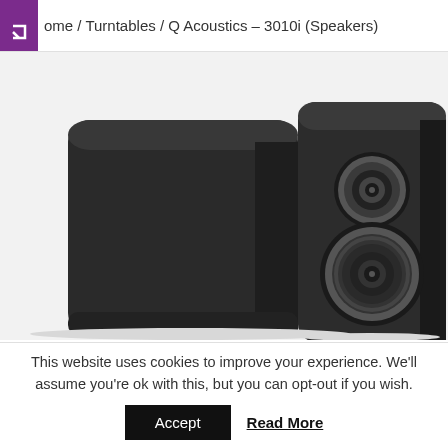Home / Turntables / Q Acoustics – 3010i (Speakers)
[Figure (photo): Two Q Acoustics 3010i bookshelf speakers in graphite/dark grey finish. Left speaker shows the back side (smooth enclosure), right speaker shows the front with tweeter and woofer drivers visible.]
This website uses cookies to improve your experience. We'll assume you're ok with this, but you can opt-out if you wish.
Accept  Read More